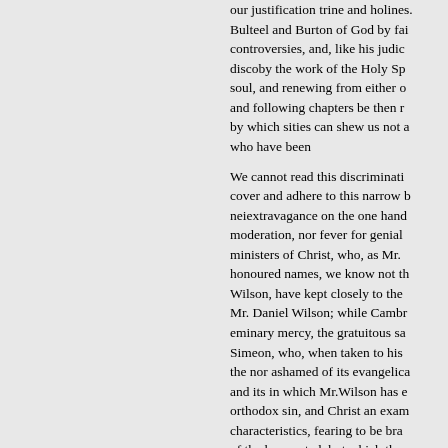our justification trine and holines. Bulteel and Burton of God by fai controversies, and, like his judic discoby the work of the Holy Sp soul, and renewing from either o and following chapters be then r by which sities can shew us not a who have been
We cannot read this discriminati cover and adhere to this narrow b neiextravagance on the one hand moderation, nor fever for genial ministers of Christ, who, as Mr. honoured names, we know not th Wilson, have kept closely to the Mr. Daniel Wilson; while Cambr eminary mercy, the gratuitous sa Simeon, who, when taken to his the nor ashamed of its evangelica and its in which Mr.Wilson has e orthodox sin, and Christ an exam characteristics, fearing to be bra of the knowrated, but which the